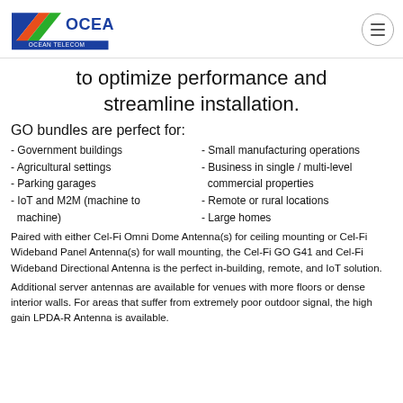[Figure (logo): Ocean Telecom logo with diagonal colored stripes (blue, orange, green) and text OCEAN / OCEAN TELECOM]
to optimize performance and streamline installation.
GO bundles are perfect for:
- Government buildings
- Agricultural settings
- Parking garages
- IoT and M2M (machine to machine)
- Small manufacturing operations
- Business in single / multi-level commercial properties
- Remote or rural locations
- Large homes
Paired with either Cel-Fi Omni Dome Antenna(s) for ceiling mounting or Cel-Fi Wideband Panel Antenna(s) for wall mounting, the Cel-Fi GO G41 and Cel-Fi Wideband Directional Antenna is the perfect in-building, remote, and IoT solution.
Additional server antennas are available for venues with more floors or dense interior walls. For areas that suffer from extremely poor outdoor signal, the high gain LPDA-R Antenna is available.